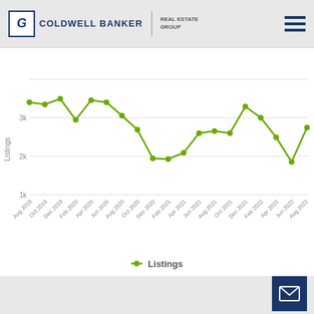Coldwell Banker Real Estate Group
[Figure (line-chart): Listings over time]
Listings